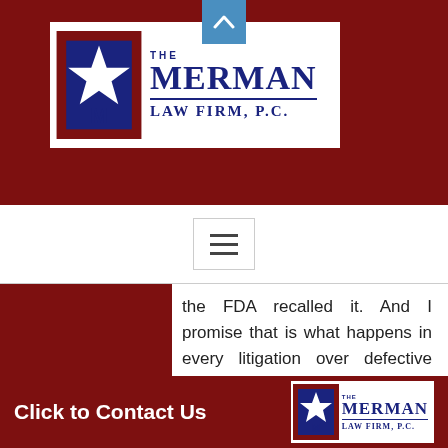[Figure (logo): The Merman Law Firm, P.C. logo with star graphic on dark red background header]
[Figure (other): Hamburger menu icon button in navigation bar]
the FDA recalled it.  And I promise that is what happens in every litigation over defective drugs.  The drug company tried to cut off claims brought by people it knows were injured by its product because they “adequately warned of the
[Figure (logo): The Merman Law Firm, P.C. footer logo]
Click to Contact Us